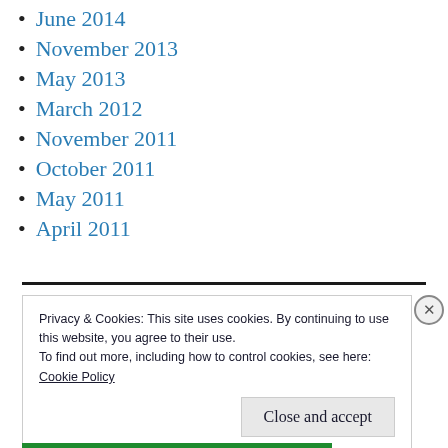June 2014
November 2013
May 2013
March 2012
November 2011
October 2011
May 2011
April 2011
Privacy & Cookies: This site uses cookies. By continuing to use this website, you agree to their use.
To find out more, including how to control cookies, see here:
Cookie Policy
Close and accept